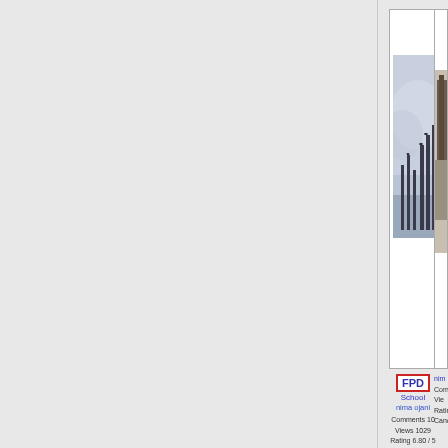[Figure (photo): Framed photograph showing tall dark pillars or poles standing in misty blue-gray water or fog, with birds perched on some of them. Moody, atmospheric black and white style image.]
FPD
School
nima ojani
Comments 10
Views 1029
Rating 6.80 / 5
Canon EOS 40D
[Figure (photo): Partial view of a framed photograph showing what appears to be dark sculptural or architectural forms, partially cropped on the right edge.]
nim
Com
Vie
Ratin
Cano